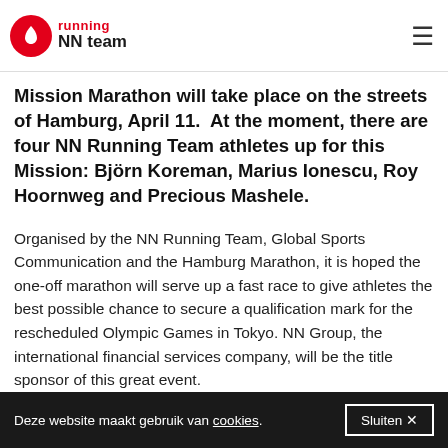NN Running Team
Mission Marathon will take place on the streets of Hamburg, April 11. At the moment, there are four NN Running Team athletes up for this Mission: Björn Koreman, Marius Ionescu, Roy Hoornweg and Precious Mashele.
Organised by the NN Running Team, Global Sports Communication and the Hamburg Marathon, it is hoped the one-off marathon will serve up a fast race to give athletes the best possible chance to secure a qualification mark for the rescheduled Olympic Games in Tokyo. NN Group, the international financial services company, will be the title sponsor of this great event.
In these challenging times and with the road race calendar for the first half of 2021 decimated by the global pandemic, the involved parties were keen to arrange the
Deze website maakt gebruik van cookies. Sluiten